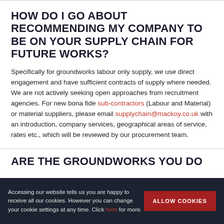HOW DO I GO ABOUT RECOMMENDING MY COMPANY TO BE ON YOUR SUPPLY CHAIN FOR FUTURE WORKS?
Specifically for groundworks labour only supply, we use direct engagement and have sufficient contracts of supply where needed. We are not actively seeking open approaches from recruitment agencies. For new bona fide sub-contractors (Labour and Material) or material suppliers, please email supplychain@mackoy.co.uk with an introduction, company services, geographical areas of service, rates etc., which will be reviewed by our procurement team.
ARE THE GROUNDWORKS YOU DO
Accessing our website tells us you are happy to receive all our cookies. However you can change your cookie settings at any time. Click here for more.